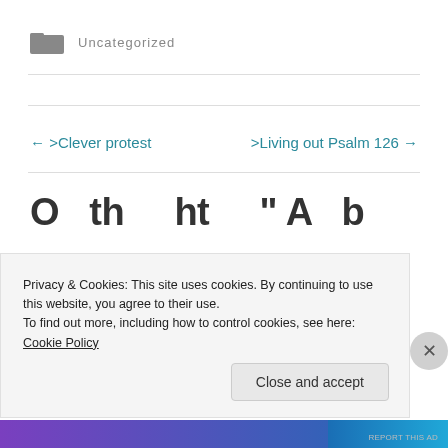Uncategorized
← >Clever protest
>Living out Psalm 126 →
Privacy & Cookies: This site uses cookies. By continuing to use this website, you agree to their use. To find out more, including how to control cookies, see here: Cookie Policy
Close and accept